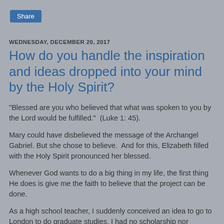Share
WEDNESDAY, DECEMBER 20, 2017
How do you handle the inspiration and ideas dropped into your mind by the Holy Spirit?
"Blessed are you who believed that what was spoken to you by the Lord would be fulfilled."  (Luke 1: 45).
Mary could have disbelieved the message of the Archangel Gabriel. But she chose to believe.  And for this, Elizabeth filled with the Holy Spirit pronounced her blessed.
Whenever God wants to do a big thing in my life, the first thing He does is give me the faith to believe that the project can be done.
As a high school teacher, I suddenly conceived an idea to go to London to do graduate studies. I had no scholarship nor